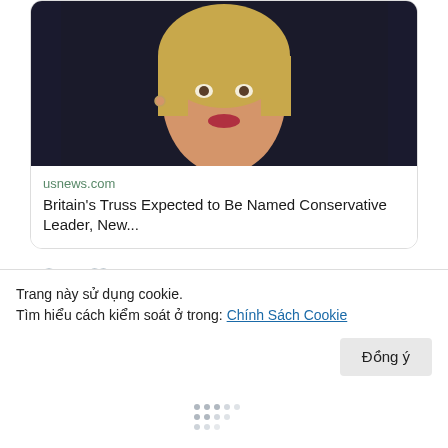[Figure (photo): Photo of Liz Truss, a blonde woman, against a dark background, shown in a Twitter news card for usnews.com]
usnews.com
Britain's Truss Expected to Be Named Conservative Leader, New...
[Figure (illustration): Twitter action icons: comment bubble and heart]
Tran Dinh H...  @tdh...  · 14 phút
Solomon Islands says Australia, NZ exempt from navy ship moratorium
Trang này sử dụng cookie.
Tìm hiểu cách kiểm soát ở trong: Chính Sách Cookie
Đồng ý